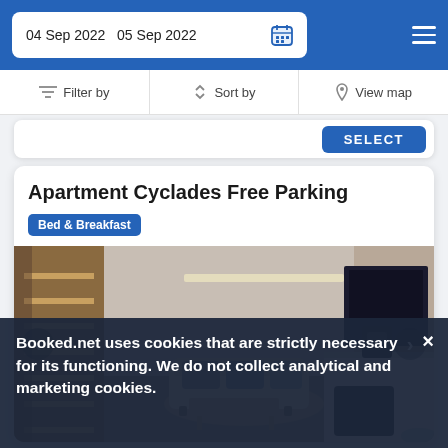04 Sep 2022  05 Sep 2022
Filter by | Sort by | View map
SELECT
Apartment Cyclades Free Parking
Bed & Breakfast
[Figure (photo): Interior photo of an apartment showing a loft staircase on the left, a sofa with cushions in the center, a round rug, coffee table, and a mounted TV with kitchen appliances on the right.]
Booked.net uses cookies that are strictly necessary for its functioning. We do not collect analytical and marketing cookies.